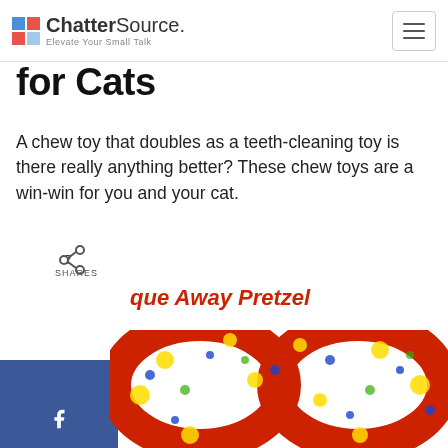ChatterSource. Elevate Your Small Talk
for Cats
A chew toy that doubles as a teeth-cleaning toy is there really anything better? These chew toys are a win-win for you and your cat.
que Away Pretzel
[Figure (photo): Colorful pretzel-shaped cat chew toy in red, yellow, green and blue pattern]